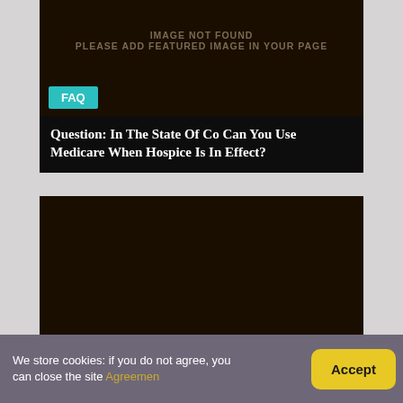[Figure (other): Dark brown placeholder image with text 'IMAGE NOT FOUND PLEASE ADD FEATURED IMAGE IN YOUR PAGE']
FAQ
Question: In The State Of Co Can You Use Medicare When Hospice Is In Effect?
[Figure (other): Dark brown placeholder image with text 'IMAGE NOT FOUND']
We store cookies: if you do not agree, you can close the site Agreemen
Accept